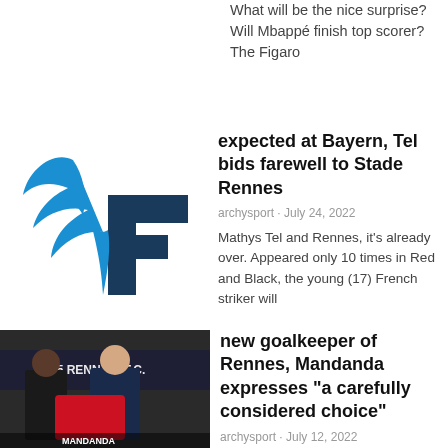What will be the nice surprise? Will Mbappé finish top scorer? The Figaro
[Figure (logo): Le Figaro newspaper logo — dark blue letter F with blue feather/quill accent]
expected at Bayern, Tel bids farewell to Stade Rennes
archysport · July 24, 2022
Mathys Tel and Rennes, it's already over. Appeared only 10 times in Red and Black, the young (17) French striker will
[Figure (photo): Photo of Steve Mandanda holding a red Rennes jersey with a man in a suit, in front of a Stade Rennais F.C. backdrop. Caption area reads MANDANDA.]
new goalkeeper of Rennes, Mandanda expresses "a carefully considered choice"
archysport · July 12, 2022